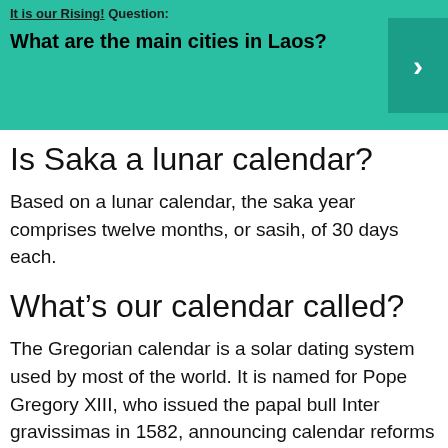[Figure (other): Teal/green banner with partially visible text 'It is our Rising! Question:' underlined at top, bold question text 'What are the main cities in Laos?' and a right-arrow chevron button on right side]
Is Saka a lunar calendar?
Based on a lunar calendar, the saka year comprises twelve months, or sasih, of 30 days each.
What’s our calendar called?
The Gregorian calendar is a solar dating system used by most of the world. It is named for Pope Gregory XIII, who issued the papal bull Inter gravissimas in 1582, announcing calendar reforms for all of Catholic Christendom.